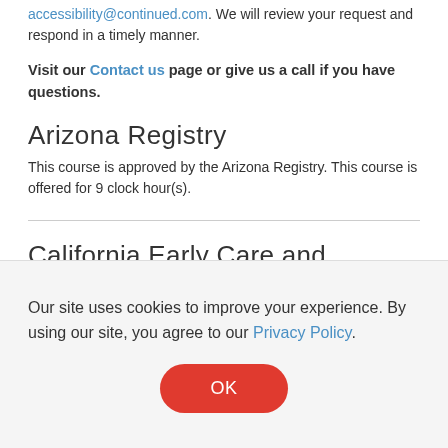accessibility@continued.com. We will review your request and respond in a timely manner.
Visit our Contact us page or give us a call if you have questions.
Arizona Registry
This course is approved by the Arizona Registry. This course is offered for 9 clock hour(s).
California Early Care and Education Workforce Registry
continued is an Approved Training Sponsor with the California Early Care and Education Workforce Registry. This course is offered for 9 clock hour(s).
Our site uses cookies to improve your experience. By using our site, you agree to our Privacy Policy.